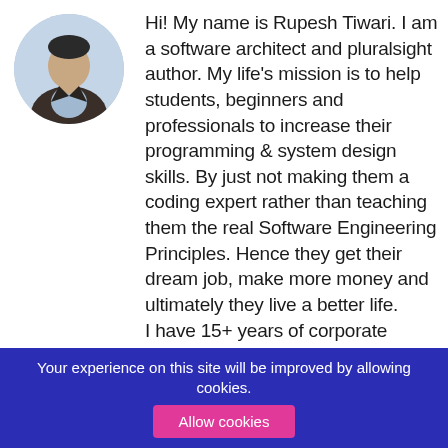[Figure (photo): Headshot photo of Rupesh Tiwari, a man in a dark suit jacket and light blue shirt, circular crop]
Hi! My name is Rupesh Tiwari. I am a software architect and pluralsight author. My life's mission is to help students, beginners and professionals to increase their programming & system design skills. By just not making them a coding expert rather than teaching them the real Software Engineering Principles. Hence they get their dream job, make more money and ultimately they live a better life. I have 15+ years of corporate
Your experience on this site will be improved by allowing cookies.